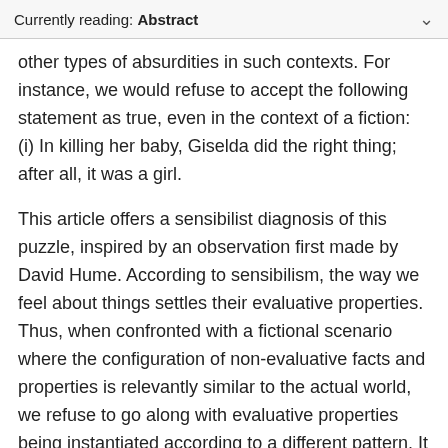Currently reading: Abstract
other types of absurdities in such contexts. For instance, we would refuse to accept the following statement as true, even in the context of a fiction: (i) In killing her baby, Giselda did the right thing; after all, it was a girl.
This article offers a sensibilist diagnosis of this puzzle, inspired by an observation first made by David Hume. According to sensibilism, the way we feel about things settles their evaluative properties. Thus, when confronted with a fictional scenario where the configuration of non-evaluative facts and properties is relevantly similar to the actual world, we refuse to go along with evaluative properties being instantiated according to a different pattern. It is the attitudes we hold in the actual world that fix the extension of evaluative terms, even in nonactual worlds. When